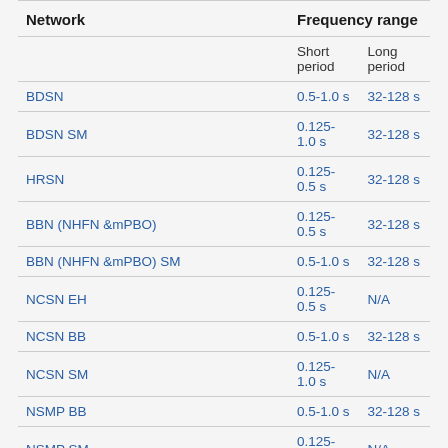| Network | Short period | Long period |
| --- | --- | --- |
| BDSN | 0.5-1.0 s | 32-128 s |
| BDSN SM | 0.125-1.0 s | 32-128 s |
| HRSN | 0.125-0.5 s | 32-128 s |
| BBN (NHFN &mPBO) | 0.125-0.5 s | 32-128 s |
| BBN (NHFN &mPBO) SM | 0.5-1.0 s | 32-128 s |
| NCSN EH | 0.125-0.5 s | N/A |
| NCSN BB | 0.5-1.0 s | 32-128 s |
| NCSN SM | 0.125-1.0 s | N/A |
| NSMP BB | 0.5-1.0 s | 32-128 s |
| NSMP SM | 0.125-1.0 s | N/A |